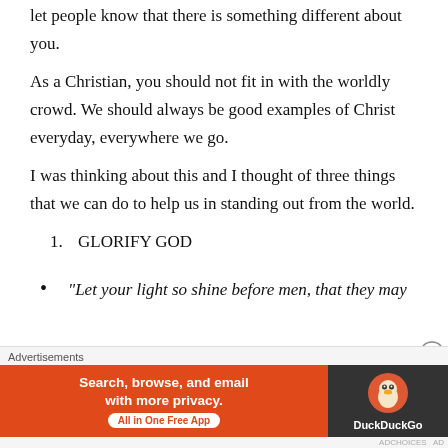let people know that there is something different about you.
As a Christian, you should not fit in with the worldly crowd. We should always be good examples of Christ everyday, everywhere we go.
I was thinking about this and I thought of three things that we can do to help us in standing out from the world.
GLORIFY GOD
“Let your light so shine before men, that they may
[Figure (screenshot): DuckDuckGo advertisement banner with orange background on left side reading 'Search, browse, and email with more privacy. All in One Free App' and dark right side with DuckDuckGo duck logo. Labeled 'Advertisements' above.]